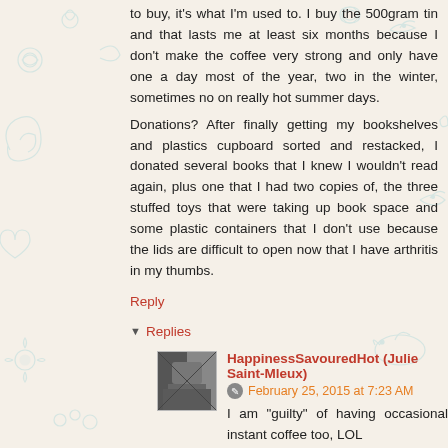to buy, it's what I'm used to. I buy the 500gram tin and that lasts me at least six months because I don't make the coffee very strong and only have one a day most of the year, two in the winter, sometimes no on really hot summer days.
Donations? After finally getting my bookshelves and plastics cupboard sorted and restacked, I donated several books that I knew I wouldn't read again, plus one that I had two copies of, the three stuffed toys that were taking up book space and some plastic containers that I don't use because the lids are difficult to open now that I have arthritis in my thumbs.
Reply
Replies
HappinessSavouredHot (Julie Saint-Mleux)
February 25, 2015 at 7:23 AM
I am "guilty" of having occasional instant coffee too, LOL
Great donations! You will gain so much space